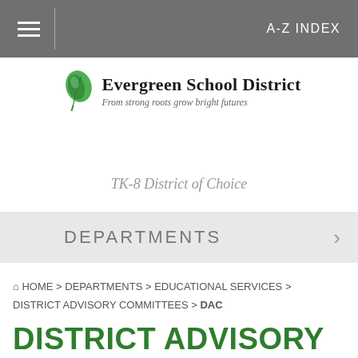A-Z INDEX
[Figure (logo): Evergreen School District logo with green leaf icon]
Evergreen School District
From strong roots grow bright futures
TK-8 District of Choice
DEPARTMENTS
HOME > DEPARTMENTS > EDUCATIONAL SERVICES > DISTRICT ADVISORY COMMITTEES > DAC
DISTRICT ADVISORY COMMITTEE (DAC)